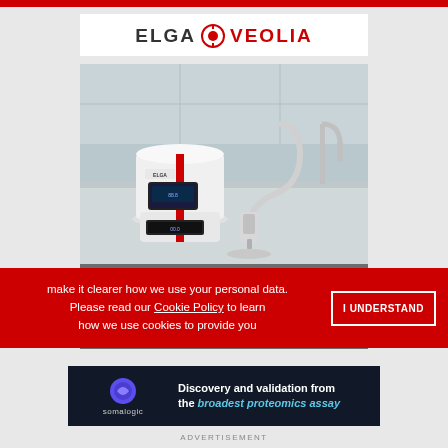[Figure (logo): ELGA Veolia logo with circular icon between ELGA and VEOLIA text in red]
[Figure (photo): Laboratory water purification system - PURELAB CHORUS device, white cylindrical unit with red accent and flexible dispensing arm on lab bench]
PURELAB® CHORUS range
LEARN more about the impact of water on microbiology
ADVERTISEMENT
make it clearer how we use your personal data. Please read our Cookie Policy to learn how we use cookies to provide you
I UNDERSTAND
[Figure (logo): Somalogic advertisement banner: Discovery and validation from the broadest proteomics assay]
ADVERTISEMENT